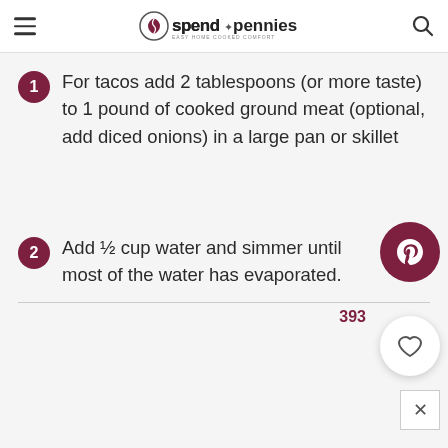spend with pennies — easy home cooked comfort
For tacos add 2 tablespoons (or more taste) to 1 pound of cooked ground meat (optional, add diced onions) in a large pan or skillet
Add ½ cup water and simmer until most of the water has evaporated.